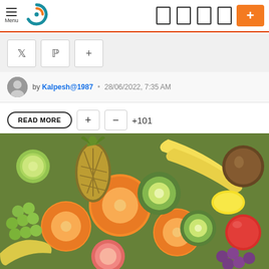Menu [nav logo] [icon][icon][icon][icon] [+]
Twitter share, Pinterest share, + share buttons
by Kalpesh@1987 • 28/06/2022, 7:35 AM
READ MORE  +  −  +101
[Figure (photo): Colorful assortment of fresh fruits including oranges, kiwi, bananas, grapes, pineapple, lime, apple, coconut arranged together]